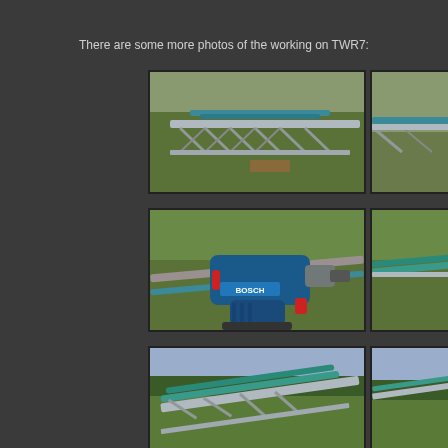There are some more photos of the working on TWR7:
[Figure (photo): Metal truss/antenna structure laid on grass field, viewed from above at an angle, with blue painted pipes visible]
[Figure (photo): Close-up of a Bosch power drill/tool being used on antenna structure, green field visible in background]
[Figure (photo): Antenna structure with green/teal painted tubes on grass field, partial view]
[Figure (photo): Partial right-side photo: antenna structure with blue/teal tube detail]
[Figure (photo): Partial right-side photo: antenna structure detail with green tubes]
[Figure (photo): Partial right-side photo: antenna structure in field, partial view]